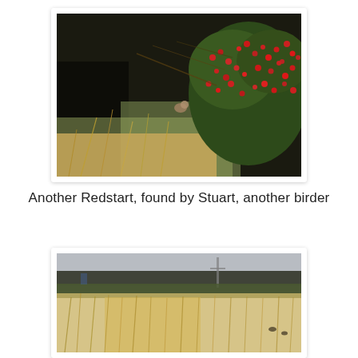[Figure (photo): Photograph of a bird (Redstart) partially hidden in a berry-laden bush/shrub with red berries and green leaves, with dry golden grass in the foreground and a dark background suggesting open countryside.]
Another Redstart, found by Stuart, another birder
[Figure (photo): Photograph showing tall dry golden grass/reeds in the foreground with dark treeline and utility poles visible in the blurred background, likely a wetland or meadow habitat.]